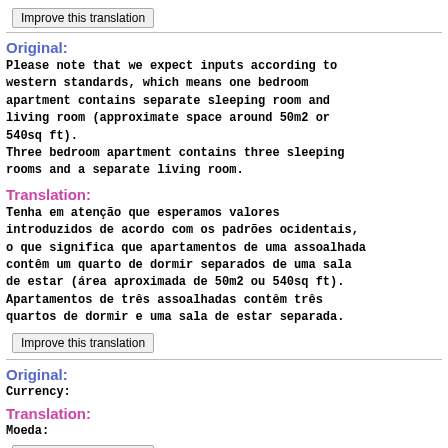Improve this translation
Original:
Please note that we expect inputs according to western standards, which means one bedroom apartment contains separate sleeping room and living room (approximate space around 50m2 or 540sq ft).
Three bedroom apartment contains three sleeping rooms and a separate living room.
Translation:
Tenha em atenção que esperamos valores introduzidos de acordo com os padrões ocidentais, o que significa que apartamentos de uma assoalhada contêm um quarto de dormir separados de uma sala de estar (área aproximada de 50m2 ou 540sq ft). Apartamentos de três assoalhadas contêm três quartos de dormir e uma sala de estar separada.
Improve this translation
Original:
Currency:
Translation:
Moeda:
Improve this translation